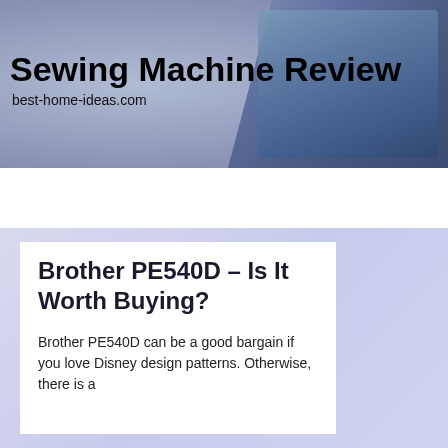Sewing Machine Review
best-home-ideas.com
BROWSE
Brother PE540D – Is It Worth Buying?
Brother PE540D can be a good bargain if you love Disney design patterns. Otherwise, there is a